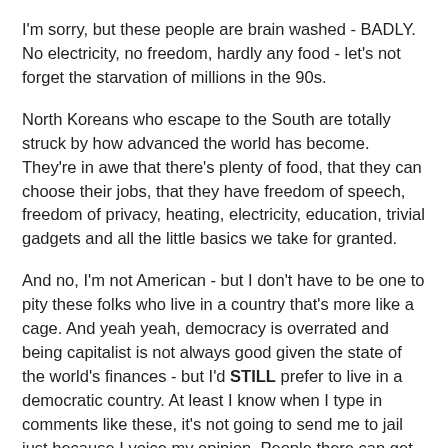I'm sorry, but these people are brain washed - BADLY. No electricity, no freedom, hardly any food - let's not forget the starvation of millions in the 90s.
North Koreans who escape to the South are totally struck by how advanced the world has become. They're in awe that there's plenty of food, that they can choose their jobs, that they have freedom of speech, freedom of privacy, heating, electricity, education, trivial gadgets and all the little basics we take for granted.
And no, I'm not American - but I don't have to be one to pity these folks who live in a country that's more like a cage. And yeah yeah, democracy is overrated and being capitalist is not always good given the state of the world's finances - but I'd STILL prefer to live in a democratic country. At least I know when I type in comments like these, it's not going to send me to jail just because I voice my opinion. People there can get capital punishment for offending the fat leader.